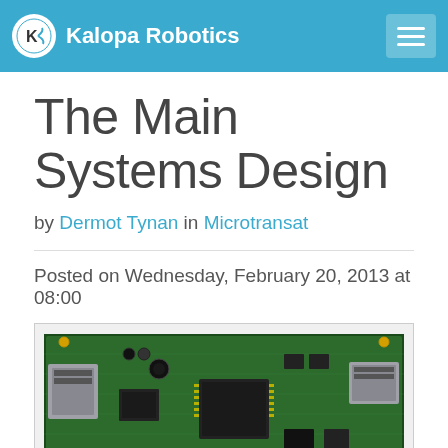Kalopa Robotics
The Main Systems Design
by Dermot Tynan in Microtransat
Posted on Wednesday, February 20, 2013 at 08:00
[Figure (photo): Green PCB circuit board with various components including chips, capacitors, connectors, and ethernet ports, photographed on a wooden surface]